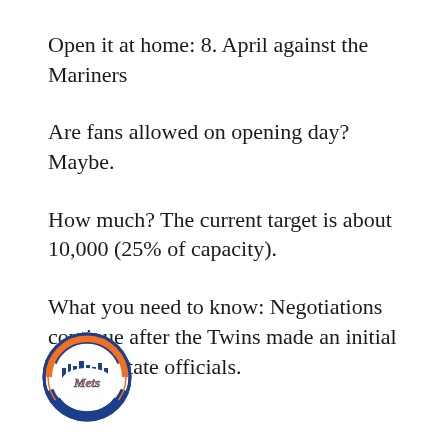Open it at home: 8. April against the Mariners
Are fans allowed on opening day? Maybe.
How much? The current target is about 10,000 (25% of capacity).
What you need to know: Negotiations continue after the Twins made an initial offer to state officials.
[Figure (logo): New York Mets circular logo with orange and blue colors, featuring 'Mets' script text and city skyline illustration]